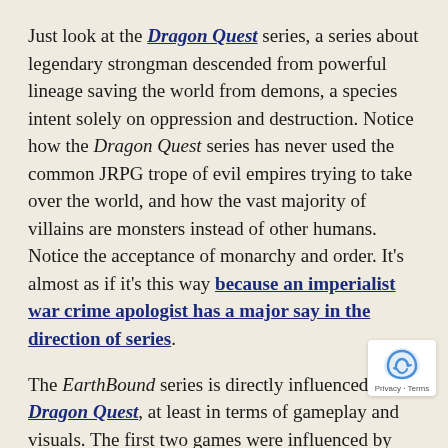Just look at the Dragon Quest series, a series about legendary strongman descended from powerful lineage saving the world from demons, a species intent solely on oppression and destruction. Notice how the Dragon Quest series has never used the common JRPG trope of evil empires trying to take over the world, and how the vast majority of villains are monsters instead of other humans. Notice the acceptance of monarchy and order. It's almost as if it's this way because an imperialist war crime apologist has a major say in the direction of series.
The EarthBound series is directly influenced by Dragon Quest, at least in terms of gameplay and visuals. The first two games were influenced by Dragon Quest III, but MOTHER 3 is closer to that of Dragon Quest V, the